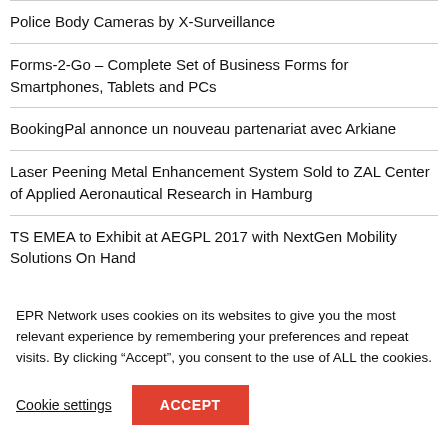Police Body Cameras by X-Surveillance
Forms-2-Go – Complete Set of Business Forms for Smartphones, Tablets and PCs
BookingPal annonce un nouveau partenariat avec Arkiane
Laser Peening Metal Enhancement System Sold to ZAL Center of Applied Aeronautical Research in Hamburg
TS EMEA to Exhibit at AEGPL 2017 with NextGen Mobility Solutions On Hand
EPR Network uses cookies on its websites to give you the most relevant experience by remembering your preferences and repeat visits. By clicking “Accept”, you consent to the use of ALL the cookies.
Cookie settings
ACCEPT